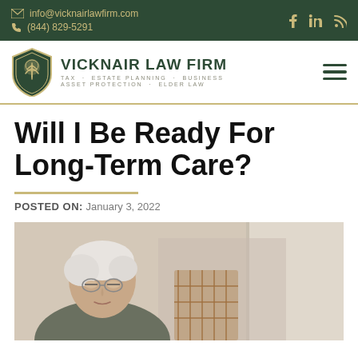info@vicknairlawfirm.com | (844) 829-5291
[Figure (logo): Vicknair Law Firm logo with shield emblem and text: VICKNAIR LAW FIRM - TAX · ESTATE PLANNING · BUSINESS - ASSET PROTECTION · ELDER LAW]
Will I Be Ready For Long-Term Care?
POSTED ON: January 3, 2022
[Figure (photo): An elderly person with white hair and glasses, looking down, seated near what appears to be a wicker chair with curtains in the background.]